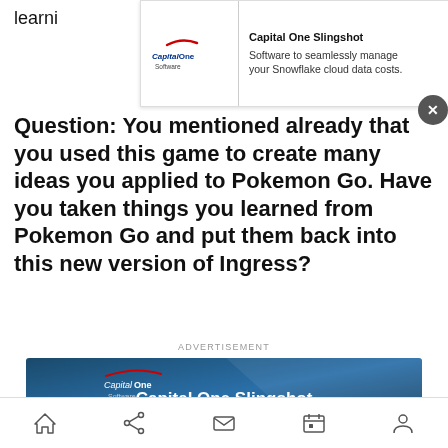learni
[Figure (screenshot): Capital One Software banner ad overlay at top of page showing logo and text: Capital One Slingshot - Software to seamlessly manage your Snowflake cloud data costs. With close (X) button.]
Question: You mentioned already that you used this game to create many ideas you applied to Pokemon Go. Have you taken things you learned from Pokemon Go and put them back into this new version of Ingress?
ADVERTISEMENT
[Figure (screenshot): Capital One Slingshot advertisement banner with dark blue background, Capital One Software logo, title 'Capital One Slingshot', subtitle 'Software to seamlessly manage your Snowflake cloud data costs.']
[Figure (other): Bottom navigation bar with home, share, mail, calendar, and profile icons]